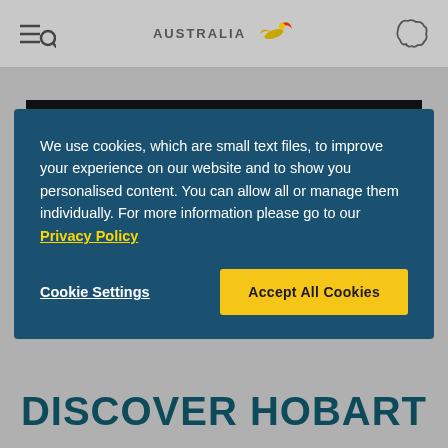AUSTRALIA [logo with bird] [menu icon] [Australia map icon]
[Figure (screenshot): Black video player area with white uppercase text: THIS VIDEO IS EITHER UNAVAILABLE OR NOT SUPPORTED IN and a close button]
We use cookies, which are small text files, to improve your experience on our website and to show you personalised content. You can allow all or manage them individually. For more information please go to our Privacy Policy
Cookie Settings
Accept All Cookies
DISCOVER HOBART